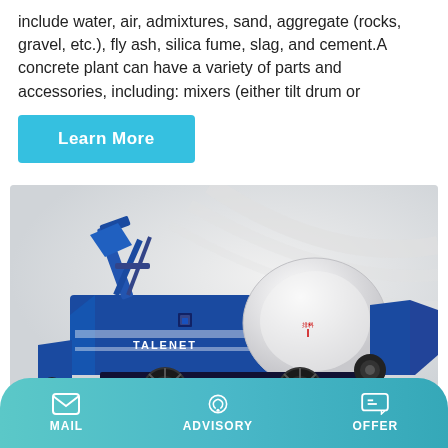include water, air, admixtures, sand, aggregate (rocks, gravel, etc.), fly ash, silica fume, slag, and cement.A concrete plant can have a variety of parts and accessories, including: mixers (either tilt drum or
[Figure (other): A blue TALENET branded concrete mixer pump machine on wheels with a white drum, photographed on a light grey background.]
MAIL   ADVISORY   OFFER